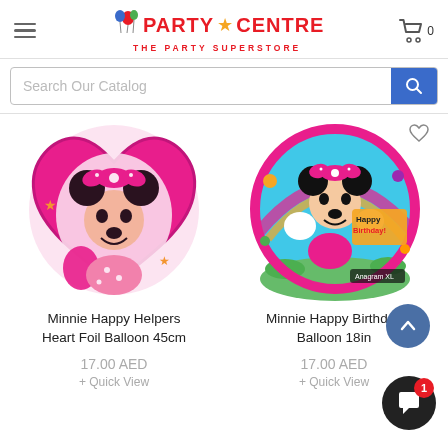[Figure (logo): Party Centre - The Party Superstore logo with balloons and star icon]
[Figure (screenshot): Search bar with 'Search Our Catalog' placeholder and blue search button]
[Figure (photo): Minnie Mouse Happy Helpers Heart Foil Balloon 45cm - pink heart-shaped balloon product image]
Minnie Happy Helpers Heart Foil Balloon 45cm
17.00 AED
+ Quick View
[Figure (photo): Minnie Happy Birthday Balloon 18in - round Minnie Mouse Happy Birthday balloon by Anagram XL]
Minnie Happy Birthday Balloon 18in
17.00 AED
+ Quick View